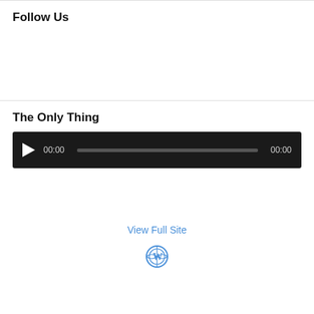Follow Us
The Only Thing
[Figure (other): Audio player with play button, current time 00:00, progress bar, and total time 00:00 on dark background]
View Full Site
[Figure (logo): WordPress logo circle icon in blue]